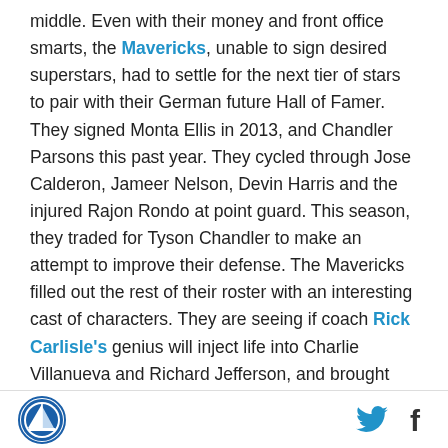middle. Even with their money and front office smarts, the Mavericks, unable to sign desired superstars, had to settle for the next tier of stars to pair with their German future Hall of Famer. They signed Monta Ellis in 2013, and Chandler Parsons this past year. They cycled through Jose Calderon, Jameer Nelson, Devin Harris and the injured Rajon Rondo at point guard. This season, they traded for Tyson Chandler to make an attempt to improve their defense. The Mavericks filled out the rest of their roster with an interesting cast of characters. They are seeing if coach Rick Carlisle's genius will inject life into Charlie Villanueva and Richard Jefferson, and brought back Barea. They have situational defender and non-
[logo] [twitter] [facebook]